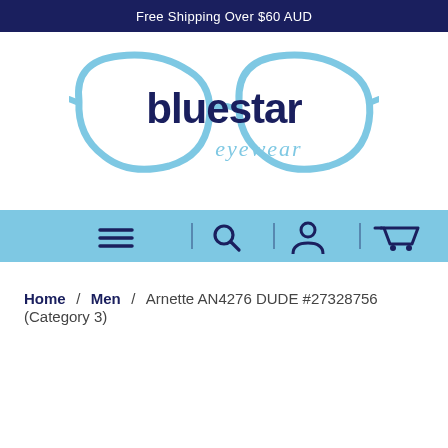Free Shipping Over $60 AUD
[Figure (logo): Bluestar Eyewear logo — two eyeglass lens outlines in light blue with the text 'bluestar eyewear' in dark navy blue inside]
[Figure (screenshot): Navigation bar with hamburger menu icon, search icon, user icon, and cart icon separated by vertical dividers on a light blue background]
Home / Men / Arnette AN4276 DUDE #27328756 (Category 3)